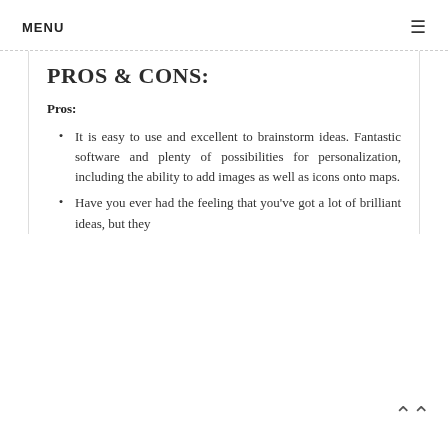MENU
PROS & CONS:
Pros:
It is easy to use and excellent to brainstorm ideas. Fantastic software and plenty of possibilities for personalization, including the ability to add images as well as icons onto maps.
Have you ever had the feeling that you've got a lot of brilliant ideas, but they